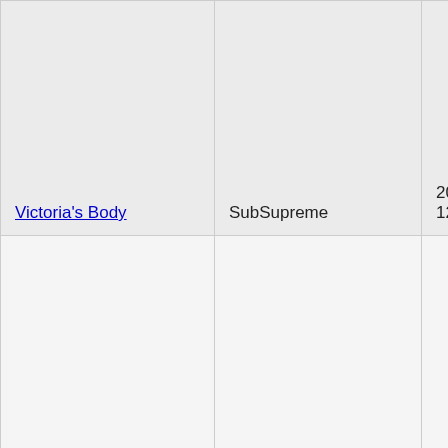| Victoria's Body | SubSupreme | 2020-12-30 | XXX |
| Prisoners of the Elder One re;Captured | JackyHF | 2020-12-28 | X |